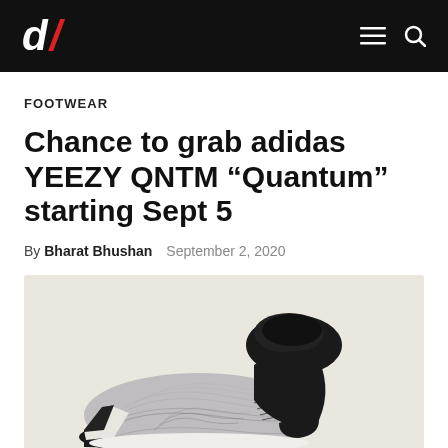d/ [logo] — navigation bar with hamburger menu and search icon
FOOTWEAR
Chance to grab adidas YEEZY QNTM “Quantum” starting Sept 5
By Bharat Bhushan   September 2, 2020
[Figure (photo): Adidas YEEZY QNTM Quantum sneaker shown from the side on a cream/off-white background. The shoe features a black high-top collar and sock, black outsole, and a grey/white patterned upper with textured leaf-like design. A white midsole is visible at the bottom.]